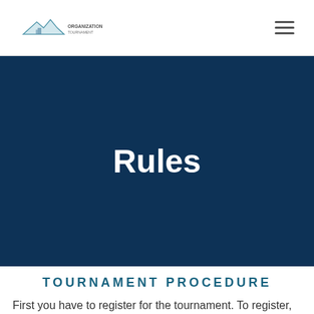[Logo: tournament organization]
Rules
TOURNAMENT PROCEDURE
First you have to register for the tournament. To register,